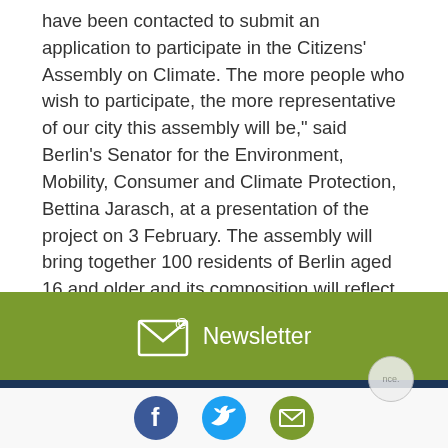have been contacted to submit an application to participate in the Citizens' Assembly on Climate. The more people who wish to participate, the more representative of our city this assembly will be," said Berlin's Senator for the Environment, Mobility, Consumer and Climate Protection, Bettina Jarasch, at a presentation of the project on 3 February. The assembly will bring together 100 residents of Berlin aged 16 and older and its composition will reflect Berlin's population mix as closely as possible. The 100 participants will be selected from the pool of respondents using an algorithm to apply a range of criteria, including age, gender, educational qualifications, place of residence, and migration experience.
[Figure (infographic): Olive green banner with envelope/newsletter icon and text 'Newsletter']
[Figure (infographic): Social media share buttons: Facebook (blue circle with f), Twitter (light blue circle with bird), Email (olive circle with envelope icon)]